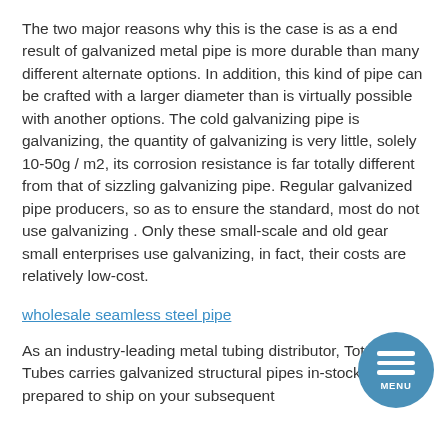The two major reasons why this is the case is as a end result of galvanized metal pipe is more durable than many different alternate options. In addition, this kind of pipe can be crafted with a larger diameter than is virtually possible with another options. The cold galvanizing pipe is galvanizing, the quantity of galvanizing is very little, solely 10-50g / m2, its corrosion resistance is far totally different from that of sizzling galvanizing pipe. Regular galvanized pipe producers, so as to ensure the standard, most do not use galvanizing . Only these small-scale and old gear small enterprises use galvanizing, in fact, their costs are relatively low-cost.
wholesale seamless steel pipe
As an industry-leading metal tubing distributor, Totten Tubes carries galvanized structural pipes in-stock and prepared to ship on your subsequent